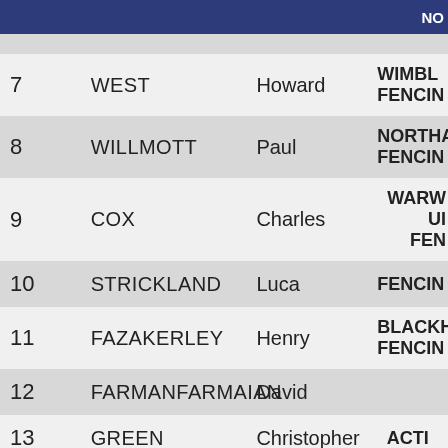| No. | Surname | First Name | Club |
| --- | --- | --- | --- |
| 7 | WEST | Howard | WIMBLEDON FENCING |
| 8 | WILLMOTT | Paul | NORTHAMPTON FENCING |
| 9 | COX | Charles | WARWICK UNIV FENCING |
| 10 | STRICKLAND | Luca | FENCING |
| 11 | FAZAKERLEY | Henry | BLACKHEATH FENCING |
| 12 | FARMANFARMAIAN | David |  |
| 13 | GREEN | Christopher | ACTON |